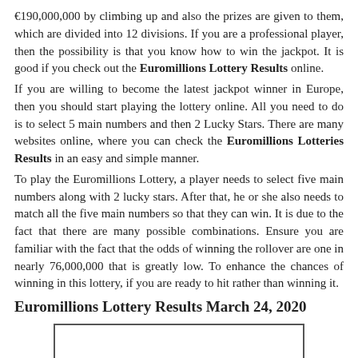€190,000,000 by climbing up and also the prizes are given to them, which are divided into 12 divisions. If you are a professional player, then the possibility is that you know how to win the jackpot. It is good if you check out the Euromillions Lottery Results online.
If you are willing to become the latest jackpot winner in Europe, then you should start playing the lottery online. All you need to do is to select 5 main numbers and then 2 Lucky Stars. There are many websites online, where you can check the Euromillions Lotteries Results in an easy and simple manner.
To play the Euromillions Lottery, a player needs to select five main numbers along with 2 lucky stars. After that, he or she also needs to match all the five main numbers so that they can win. It is due to the fact that there are many possible combinations. Ensure you are familiar with the fact that the odds of winning the rollover are one in nearly 76,000,000 that is greatly low. To enhance the chances of winning in this lottery, if you are ready to hit rather than winning it.
Euromillions Lottery Results March 24, 2020
[Figure (other): A rectangular bordered box, empty, representing an image placeholder.]